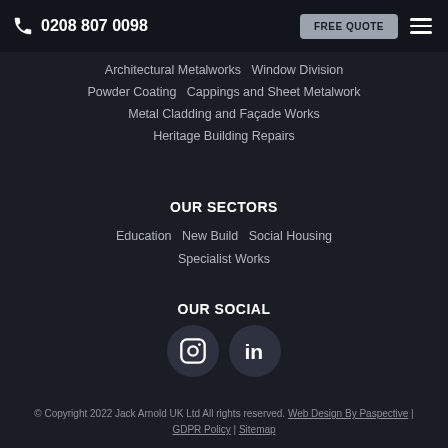0208 807 0098   FREE QUOTE
Architectural Metalworks   Window Division
Powder Coating   Cappings and Sheet Metalwork
Metal Cladding and Façade Works
Heritage Building Repairs
OUR SECTORS
Education   New Build   Social Housing
Specialist Works
OUR SOCIAL
[Figure (other): Instagram and LinkedIn social media icons as dark circular buttons]
© Copyright 2022 Jack Arnold UK Ltd All rights reserved. Web Design By Paspective | GDPR Policy | Sitemap